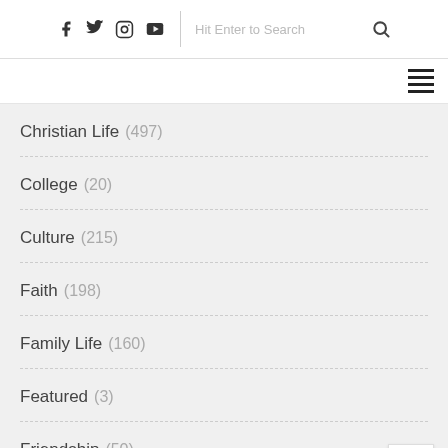Social icons: Facebook, Twitter, Instagram, YouTube | Hit Enter to Search
Christian Life (497)
College (20)
Culture (215)
Faith (198)
Family Life (160)
Featured (3)
Friendship (50)
It Happened One Christmas (19)